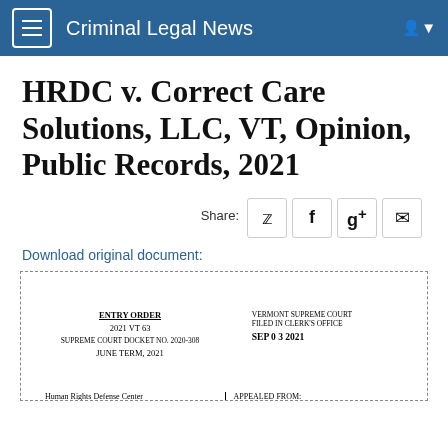Criminal Legal News
HRDC v. Correct Care Solutions, LLC, VT, Opinion, Public Records, 2021
Share:
Download original document:
[Figure (other): Preview of Vermont Supreme Court Entry Order document. Entry Order, 2021 VT 63, Supreme Court Docket No. 2020-308, June Term 2021. Human Rights Defense Center v. [defendant]. Appealed from: Superior Court, Washington Unit. Filed in Clerk's Office SEP 03 2021.]